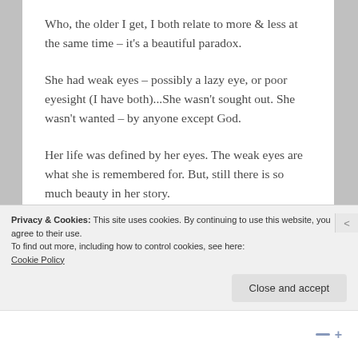Who, the older I get, I both relate to more & less at the same time – it's a beautiful paradox.
She had weak eyes – possibly a lazy eye, or poor eyesight (I have both)...She wasn't sought out. She wasn't wanted – by anyone except God.
Her life was defined by her eyes. The weak eyes are what she is remembered for. But, still there is so much beauty in her story.
Privacy & Cookies: This site uses cookies. By continuing to use this website, you agree to their use.
To find out more, including how to control cookies, see here:
Cookie Policy